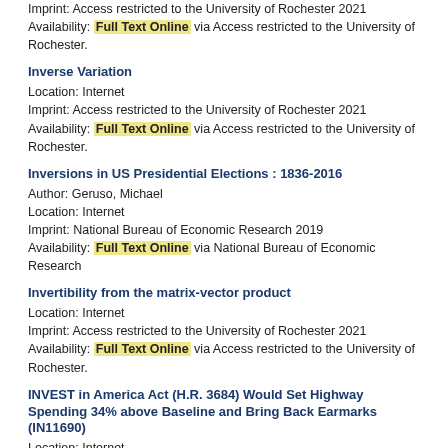Imprint: Access restricted to the University of Rochester 2021
Availability: Full Text Online via Access restricted to the University of Rochester.
Inverse Variation
Location: Internet
Imprint: Access restricted to the University of Rochester 2021
Availability: Full Text Online via Access restricted to the University of Rochester.
Inversions in US Presidential Elections : 1836-2016
Author: Geruso, Michael
Location: Internet
Imprint: National Bureau of Economic Research 2019
Availability: Full Text Online via National Bureau of Economic Research
Invertibility from the matrix-vector product
Location: Internet
Imprint: Access restricted to the University of Rochester 2021
Availability: Full Text Online via Access restricted to the University of Rochester.
INVEST in America Act (H.R. 3684) Would Set Highway Spending 34% above Baseline and Bring Back Earmarks (IN11690)
Location: Internet
Imprint: HeinOnline U.S. Congressional Documents Library 2021
Availability: Full Text Online via HeinOnline U.S. Congressional Documents Library